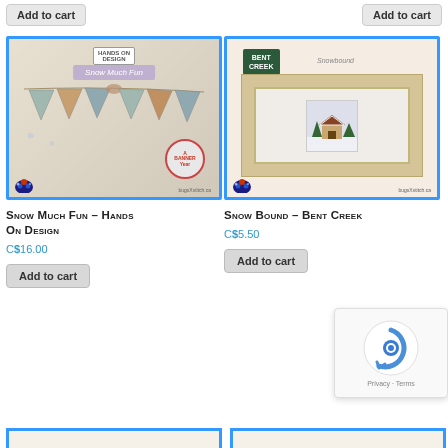Add to cart (top left button)
Add to cart (top right button)
[Figure (photo): Product image for Snow Much Fun - Hands On Design cross stitch pattern. Shows decorative bunting/banner flags with snowflakes and 'Snow Much Fun' title banner. Has ladybug logo and bugsXstitch.ca watermark. Enclosed in blue border.]
[Figure (photo): Product image for Snow Bound - Bent Creek cross stitch pattern. Shows a framed winter scene of a house in snow with Bent Creek green logo and 'Snowbound' text. Has ladybug logo and bugsXstitch.ca watermark. Enclosed in blue border.]
Snow Much Fun – Hands On Design
C$16.00
Add to cart
Snow Bound – Bent Creek
C$5.50
Add to cart
[Figure (screenshot): reCAPTCHA verification widget showing Google reCAPTCHA logo with 'Privacy - Terms' text.]